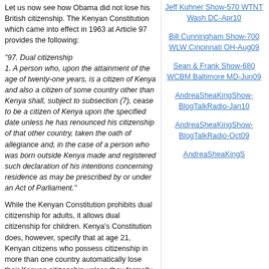Let us now see how Obama did not lose his British citizenship. The Kenyan Constitution which came into effect in 1963 at Article 97 provides the following:
"97. Dual citizenship
1. A person who, upon the attainment of the age of twenty-one years, is a citizen of Kenya and also a citizen of some country other than Kenya shall, subject to subsection (7), cease to be a citizen of Kenya upon the specified date unless he has renounced his citizenship of that other country, taken the oath of allegiance and, in the case of a person who was born outside Kenya made and registered such declaration of his intentions concerning residence as may be prescribed by or under an Act of Parliament."
While the Kenyan Constitution prohibits dual citizenship for adults, it allows dual citizenship for children. Kenya's Constitution does, however, specify that at age 21, Kenyan citizens who possess citizenship in more than one country automatically lose their Kenyan citizenship unless they formally renounce any non-Kenyan citizenship, swear an oath of allegiance to Kenya, and in the case of a
Jeff Kuhner Show-570 WTNT Wash DC-Apr10
Bill Cunningham Show-700 WLW Cincinnati OH-Aug09
Sean & Frank Show-680 WCBM Baltimore MD-Jun09
AndreaSheaKingShow-BlogTalkRadio-Jan10
AndreaSheaKingShow-BlogTalkRadio-Oct09
AndreaSheaKingS